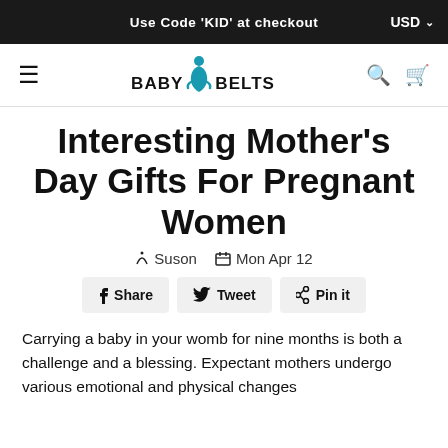Use Code 'KID' at checkout   USD
BABY BELTS
Interesting Mother's Day Gifts For Pregnant Women
✏ Suson  📅 Mon Apr 12
f Share   🐦 Tweet   ℗ Pin it
Carrying a baby in your womb for nine months is both a challenge and a blessing. Expectant mothers undergo various emotional and physical changes